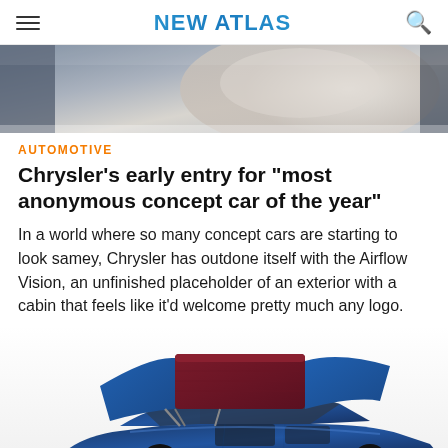NEW ATLAS
[Figure (photo): Top portion of a car interior photo, showing seat upholstery and door trim in grey and white tones]
AUTOMOTIVE
Chrysler's early entry for "most anonymous concept car of the year"
In a world where so many concept cars are starting to look samey, Chrysler has outdone itself with the Airflow Vision, an unfinished placeholder of an exterior with a cabin that feels like it'd welcome pretty much any logo.
[Figure (photo): Blue Chrysler Airflow Vision concept car with burgundy/dark red pop-up roof tent element open, showing the rear and side of the vehicle]